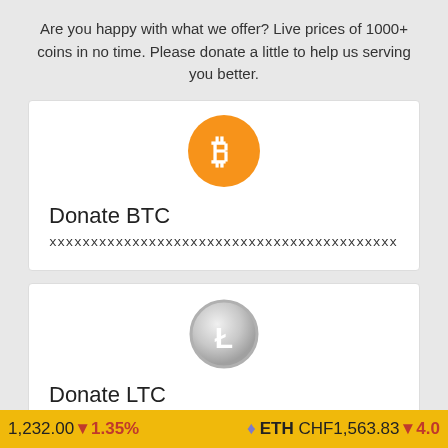Are you happy with what we offer? Live prices of 1000+ coins in no time. Please donate a little to help us serving you better.
[Figure (illustration): Orange Bitcoin (BTC) coin logo — circular orange badge with white Bitcoin 'B' symbol]
Donate BTC
xxxxxxxxxxxxxxxxxxxxxxxxxxxxxxxxxxxxxxxxxx
[Figure (illustration): Silver Litecoin (LTC) coin logo — circular silver badge with white 'L' symbol]
Donate LTC
1,232.00 ▼ 1.35%   ♦ ETH CHF1,563.83 ▼ 4.0